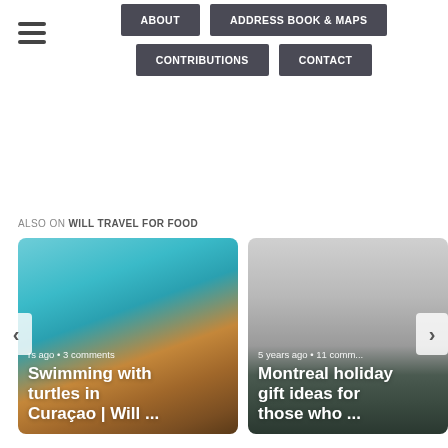ABOUT | ADDRESS BOOK & MAPS | CONTRIBUTIONS | CONTACT
ALSO ON WILL TRAVEL FOR FOOD
[Figure (photo): Underwater photo of a sea turtle swimming, with text overlay: 'rs ago • 3 comments' and title 'Swimming with turtles in Curaçao | Will ...']
[Figure (photo): Photo of stacked dark plates/dishes, with text overlay: '5 years ago • 11 comm...' and title 'Montreal holiday gift ideas for those who ...']